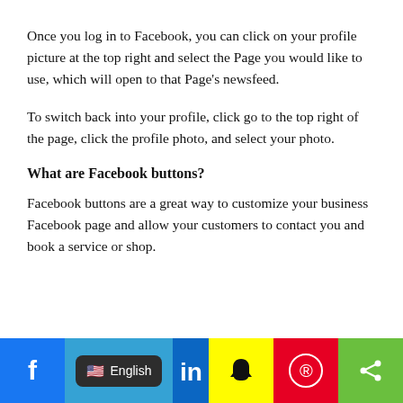Once you log in to Facebook, you can click on your profile picture at the top right and select the Page you would like to use, which will open to that Page's newsfeed.
To switch back into your profile, click go to the top right of the page, click the profile photo, and select your photo.
What are Facebook buttons?
Facebook buttons are a great way to customize your business Facebook page and allow your customers to contact you and book a service or shop.
[Figure (infographic): Social media footer bar with Facebook (blue), English language selector (dark button on light blue), LinkedIn (dark blue), Snapchat (yellow), Pinterest (red), and Share (green) icons]